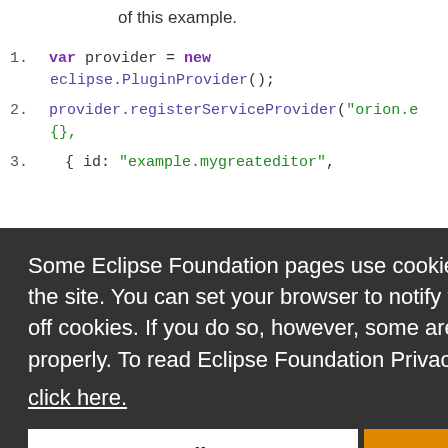of this example.
[Figure (screenshot): Code snippet showing JavaScript with line numbers 1-3 and 5. Lines show: var provider = new eclipse.PluginProvider(); provider.registerServiceProvider("orion.ec {}, { id: "example.mygreateditor",]
Some Eclipse Foundation pages use cookies to better serve you when you return to the site. You can set your browser to notify you before you receive a cookie or turn off cookies. If you do so, however, some areas of some sites may not function properly. To read Eclipse Foundation Privacy Policy click here.